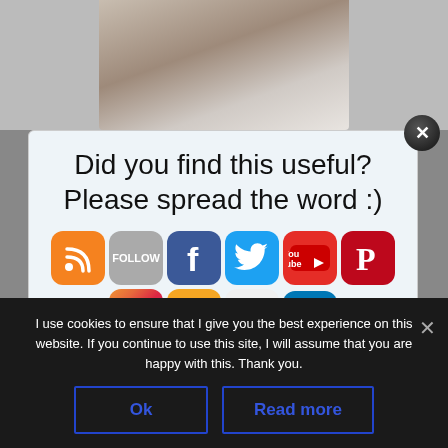[Figure (photo): Blurred background photo of food items (cookies/chocolate truffles) on a surface]
[Figure (infographic): Social sharing prompt popup with text 'Did you find this useful? Please spread the word :)' and social media icons: RSS, Follow, Facebook, Twitter, YouTube, Pinterest, Instagram, SoundCloud, Flickr, LinkedIn]
I use cookies to ensure that I give you the best experience on this website. If you continue to use this site, I will assume that you are happy with this. Thank you.
Ok
Read more